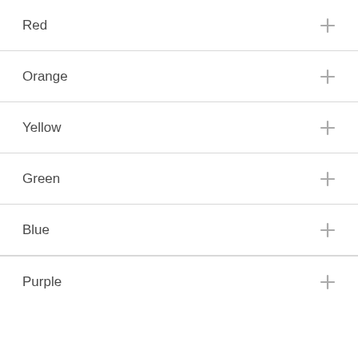Red
Orange
Yellow
Green
Blue
Purple